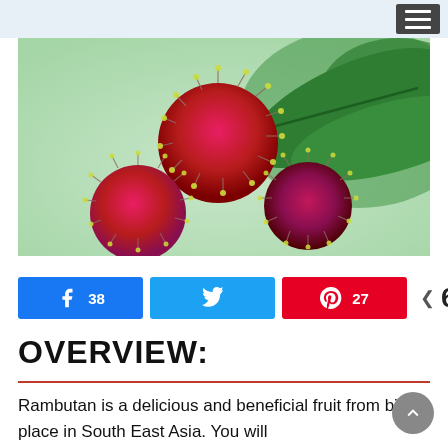[Figure (photo): Close-up photo of rambutan fruits with red spiky shells and green leaves in the background]
[Figure (infographic): Social sharing bar with Facebook (38 shares), Twitter, Pinterest (27 shares), and total 65 SHARES]
OVERVIEW:
Rambutan is a delicious and beneficial fruit from bird place in South East Asia. You will